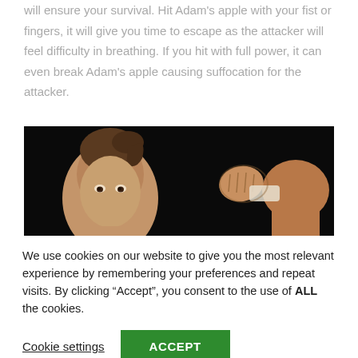will ensure your survival. Hit Adam's apple with your fist or fingers, it will give you time to escape as the attacker will feel difficulty in breathing. If you hit with full power, it can even break Adam's apple causing suffocation for the attacker.
[Figure (photo): A woman with a ponytail facing forward with intense eyes on the left; on the right, a fist striking a person's neck/throat area against a black background.]
We use cookies on our website to give you the most relevant experience by remembering your preferences and repeat visits. By clicking "Accept", you consent to the use of ALL the cookies.
Cookie settings  ACCEPT